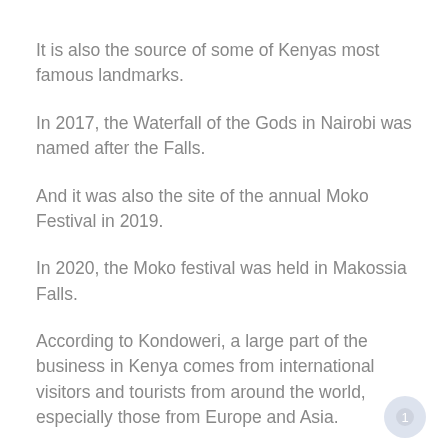It is also the source of some of Kenyas most famous landmarks.
In 2017, the Waterfall of the Gods in Nairobi was named after the Falls.
And it was also the site of the annual Moko Festival in 2019.
In 2020, the Moko festival was held in Makossia Falls.
According to Kondoweri, a large part of the business in Kenya comes from international visitors and tourists from around the world, especially those from Europe and Asia.
Kenya enjoys one of Asias highest per capita GDP, and the country has more than $1.8 billion in foreign direct